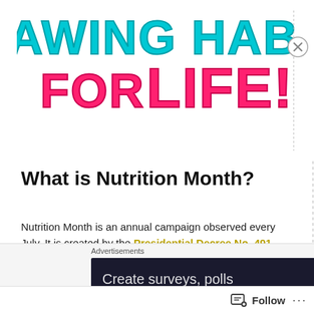[Figure (illustration): Colorful text graphic reading 'GAWING HABIT FOR LIFE!' with teal/cyan color for 'GAWING HABIT' and hot pink/magenta for 'FOR LIFE!' on white background, bold blocky font with decorative outlines.]
What is Nutrition Month?
Nutrition Month is an annual campaign observed every July. It is created by the Presidential Decree No. 491 under the regime of then President Ferdinand Marcos. The same decree also created the National Nutritional Council (NCC), the government body whose main task is to help promote greater
Advertisements  Create surveys, polls  Follow  ···